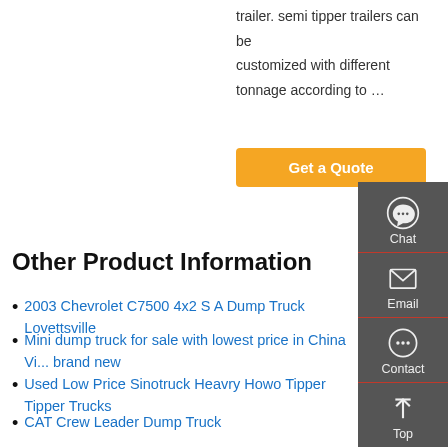trailer. semi tipper trailers can be customized with different tonnage according to …
[Figure (other): Get a Quote orange button]
Other Product Information
2003 Chevrolet C7500 4x2 S A Dump Truck Lovettsville
Mini dump truck for sale with lowest price in China View brand new
Used Low Price Sinotruck Heavry Howo Tipper Tipper Trucks
CAT Crew Leader Dump Truck
10 wheels dump truck Heavy Vehicles Carousell Philippines
Used Zz3257n3247b Low Price Sinotruck HOWO 6X4 371HP Tipper Truck